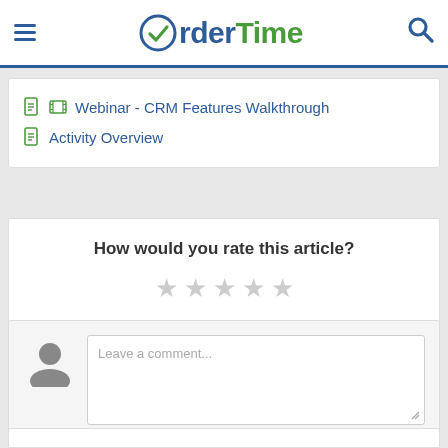OrderTime - navigation header
Webinar - CRM Features Walkthrough
Activity Overview
How would you rate this article?
★★★★★ (5 stars, unrated/greyed)
Leave a comment...